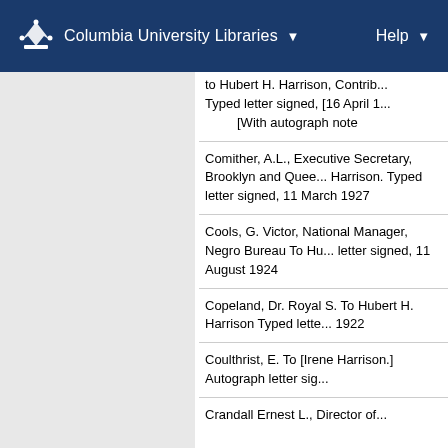Columbia University Libraries  ▼    Help ▼
to Hubert H. Harrison, Contrib... Typed letter signed, [16 April 1...
[With autograph note
Comither, A.L., Executive Secretary, Brooklyn and Quee... Harrison. Typed letter signed, 11 March 1927
Cools, G. Victor, National Manager, Negro Bureau To Hu... letter signed, 11 August 1924
Copeland, Dr. Royal S. To Hubert H. Harrison Typed lette... 1922
Coulthrist, E. To [Irene Harrison.] Autograph letter sig...
Crandall Ernest L., Director of...